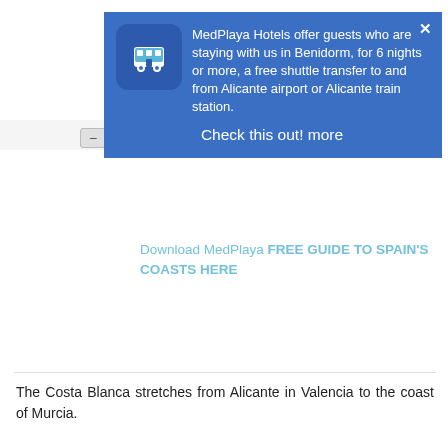[Figure (screenshot): A popup notification overlay on a tourism website. The popup has a blue background with a bus icon on the left. Text reads: 'MedPlaya Hotels offer guests who are staying with us in Benidorm, for 6 nights or more, a free shuttle transfer to and from Alicante airport or Alicante train station.' Below that is a 'Check this out! more' call to action. A close (X) button is in the top right. Behind the popup, partially visible text shows links for 'Download MedPlaya FREE GUIDE TO SPAIN'S COASTS HERE'.]
The Costa Blanca stretches from Alicante in Valencia to the coast of Murcia.
With well-developed and thoroughly modern tourist facilities, spectacular scenery, great local and international food, and numerous sports, cultural and entertainment opportunities, the Costa Blanca is one of the most cosmopolitan areas of Europe and its unofficial capital, Benidorm, is one of the finest symbols of the Spanish tourist industry.
Med Playa has five hotels in Benidorm: the Hotel Riudor, the Hotel Rio Park, the Hotel Regente, the Hotel Agir and the Hotel Flamingo Oasis. Five great hotels for a